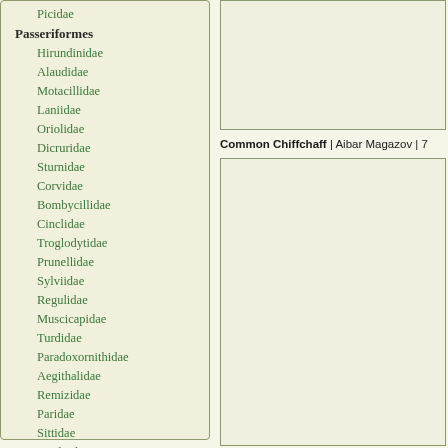Picidae
Passeriformes
Hirundinidae
Alaudidae
Motacillidae
Laniidae
Oriolidae
Dicruridae
Sturnidae
Corvidae
Bombycillidae
Cinclidae
Troglodytidae
Prunellidae
Sylviidae
Regulidae
Muscicapidae
Turdidae
Paradoxornithidae
Aegithalidae
Remizidae
Paridae
Sittidae
Certhiidae
Ploceidae
Fringillidae
Emberizidae
[Figure (photo): Bird photograph placeholder (top)]
Common Chiffchaff | Aibar Magazov | 7
[Figure (photo): Bird photograph placeholder (bottom)]